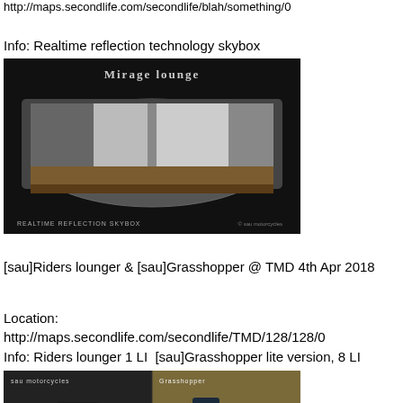http://maps.secondlife.com/secondlife/blah/something/0
Info: Realtime reflection technology skybox
[Figure (photo): Realtime Reflection Skybox product image showing Mirage lounge interior with circular room and reflective surfaces]
[sau]Riders lounger & [sau]Grasshopper @ TMD 4th Apr 2018
Location:
http://maps.secondlife.com/secondlife/TMD/128/128/0
Info: Riders lounger 1 LI  [sau]Grasshopper lite version, 8 LI
[Figure (photo): Product image split into two: left side shows sau motorcycles logo with a dark lounger chair, right side shows Grasshopper product in a grassy outdoor scene]